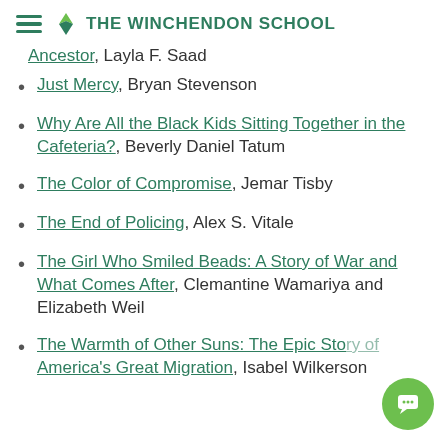THE WINCHENDON SCHOOL
Ancestor, Layla F. Saad
Just Mercy, Bryan Stevenson
Why Are All the Black Kids Sitting Together in the Cafeteria?, Beverly Daniel Tatum
The Color of Compromise, Jemar Tisby
The End of Policing, Alex S. Vitale
The Girl Who Smiled Beads: A Story of War and What Comes After, Clemantine Wamariya and Elizabeth Weil
The Warmth of Other Suns: The Epic Story of America's Great Migration, Isabel Wilkerson